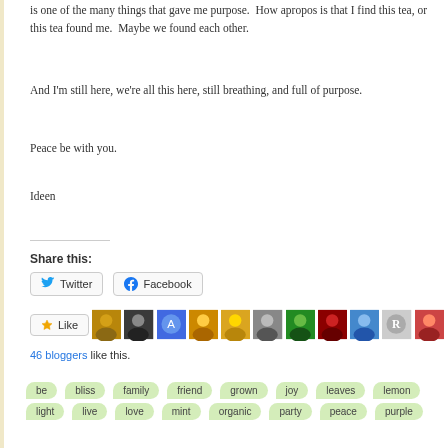is one of the many things that gave me purpose.  How apropos is that I find this tea, or this tea found me.  Maybe we found each other.
And I’m still here, we’re all this here, still breathing, and full of purpose.
Peace be with you.
Ideen
Share this:
[Figure (other): Twitter and Facebook share buttons]
[Figure (other): Like button and blogger avatars row, with '46 bloggers like this.' text below]
be bliss family friend grown joy leaves lemon light live love mint organic party peace purple (tags)